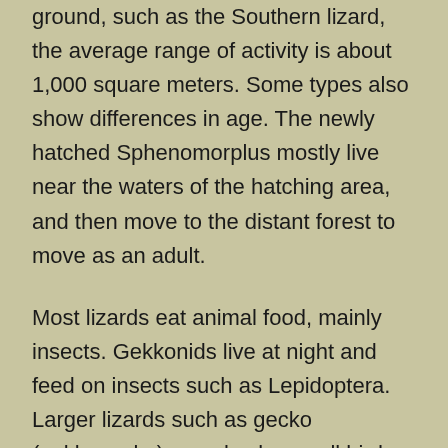ground, such as the Southern lizard, the average range of activity is about 1,000 square meters. Some types also show differences in age. The newly hatched Sphenomorplus mostly live near the waters of the hatching area, and then move to the distant forest to move as an adult.
Most lizards eat animal food, mainly insects. Gekkonids live at night and feed on insects such as Lepidoptera. Larger lizards such as gecko (gekkogecko) can also be small birds, and other lizards are food. Varanus can eat fish, frogs and even small mammals. There are also some lizards such as the iguana (Agama) for plant food. Since most species eat a lot of insects, the role of lizards in controlling pests cannot be underestimated. Moreover, they think that lizards can experience emotions and